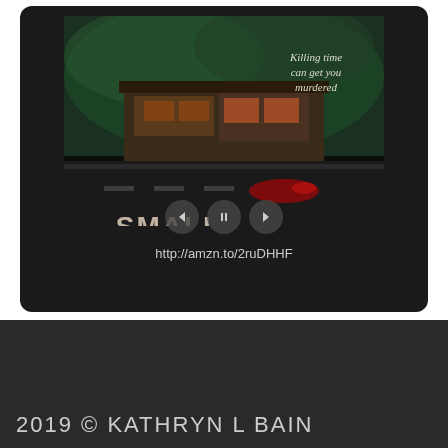[Figure (illustration): Book cover for 'Small Town Terror' shown in a dark media player widget with navigation controls and a URL link below]
http://amzn.to/2ruDHHF
2019 © KATHRYN L BAIN